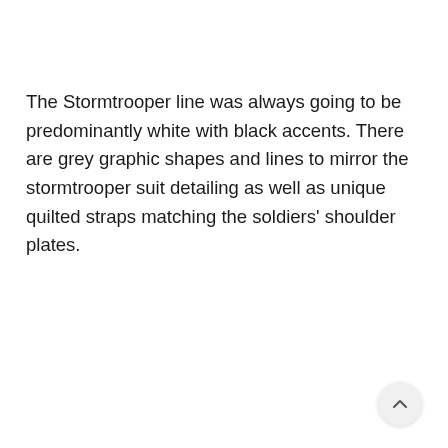The Stormtrooper line was always going to be predominantly white with black accents. There are grey graphic shapes and lines to mirror the stormtrooper suit detailing as well as unique quilted straps matching the soldiers' shoulder plates.